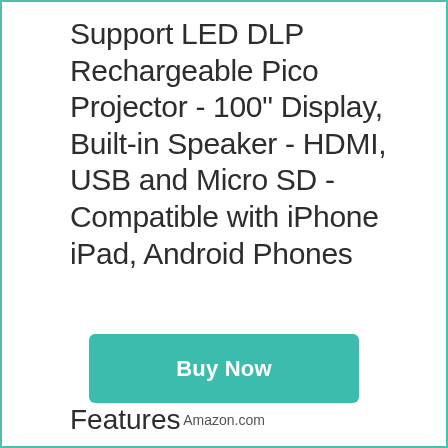Support LED DLP Rechargeable Pico Projector - 100" Display, Built-in Speaker - HDMI, USB and Micro SD - Compatible with iPhone iPad, Android Phones
Buy Now
Amazon.com
Features